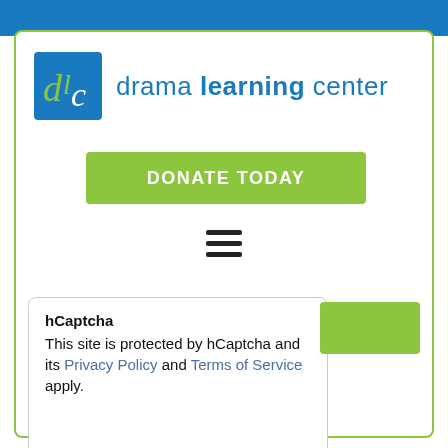[Figure (illustration): Top decorative banner with blue background and star pattern]
[Figure (logo): Drama Learning Center logo: blue square with stylized 'dlc' letters in green and white]
drama learning center
[Figure (other): Green 'DONATE TODAY' button]
[Figure (other): Hamburger menu icon (three horizontal bars)]
hCaptcha
This site is protected by hCaptcha and its Privacy Policy and Terms of Service apply.